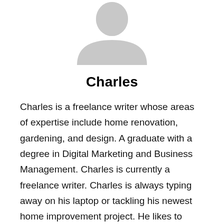[Figure (illustration): Gray placeholder avatar/profile silhouette icon showing a person's head and shoulders]
Charles
Charles is a freelance writer whose areas of expertise include home renovation, gardening, and design. A graduate with a degree in Digital Marketing and Business Management. Charles is currently a freelance writer. Charles is always typing away on his laptop or tackling his newest home improvement project. He likes to spend quality time with his family,